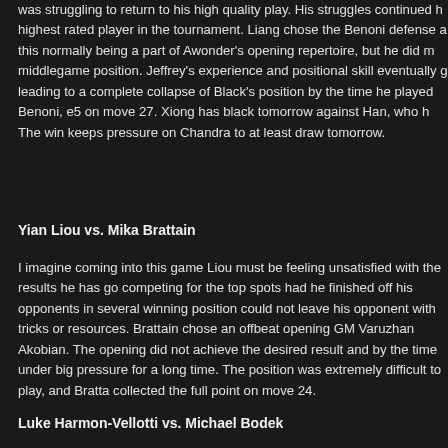was struggling to return to his high quality play. His struggles continued h highest rated player in the tournament. Liang chose the Benoni defense a this normally being a part of Awonder's opening repertoire, but he did m middlegame position. Jeffrey's experience and positional skill eventually g leading to a complete collapse of Black's position by the time he played Benoni, e5 on move 27. Xiong has black tomorrow against Han, who h The win keeps pressure on Chandra to at least draw tomorrow.
Yian Liou vs. Mika Brattain
I imagine coming into this game Liou must be feeling unsatisfied with the results he has go competing for the top spots had he finished off his opponents in several winning position could not leave his opponent with tricks or resources. Brattain chose an offbeat opening GM Varuzhan Akobian. The opening did not achieve the desired result and by the time under big pressure for a long time. The position was extremely difficult to play, and Bratt collected the full point on move 24.
Luke Harmon-Vellotti vs. Michael Bodek